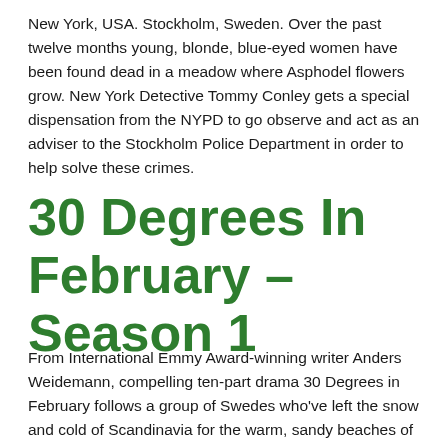New York, USA. Stockholm, Sweden. Over the past twelve months young, blonde, blue-eyed women have been found dead in a meadow where Asphodel flowers grow. New York Detective Tommy Conley gets a special dispensation from the NYPD to go observe and act as an adviser to the Stockholm Police Department in order to help solve these crimes.
30 Degrees In February – Season 1
From International Emmy Award-winning writer Anders Weidemann, compelling ten-part drama 30 Degrees in February follows a group of Swedes who've left the snow and cold of Scandinavia for the warm, sandy beaches of Thailand in the dead of winter. Why? To embark on a life-changing adventure, a fresh start and a new life, of course.